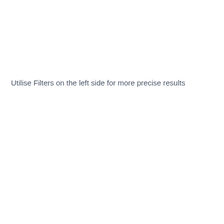Utilise Filters on the left side for more precise results